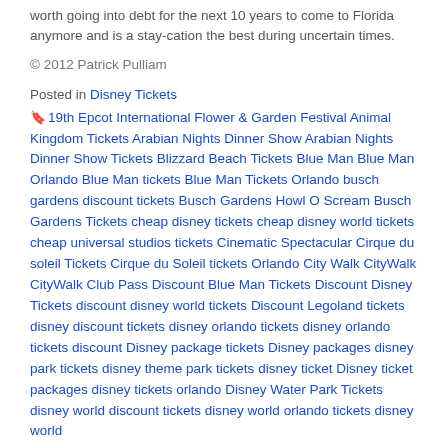worth going into debt for the next 10 years to come to Florida anymore and is a stay-cation the best during uncertain times.
© 2012 Patrick Pulliam
Posted in Disney Tickets
19th Epcot International Flower & Garden Festival Animal Kingdom Tickets Arabian Nights Dinner Show Arabian Nights Dinner Show Tickets Blizzard Beach Tickets Blue Man Blue Man Orlando Blue Man tickets Blue Man Tickets Orlando busch gardens discount tickets Busch Gardens Howl O Scream Busch Gardens Tickets cheap disney tickets cheap disney world tickets cheap universal studios tickets Cinematic Spectacular Cirque du soleil Tickets Cirque du Soleil tickets Orlando City Walk CityWalk CityWalk Club Pass Discount Blue Man Tickets Discount Disney Tickets discount disney world tickets Discount Legoland tickets disney discount tickets disney orlando tickets disney orlando tickets discount Disney package tickets Disney packages disney park tickets disney theme park tickets disney ticket Disney ticket packages disney tickets orlando Disney Water Park Tickets disney world discount tickets disney world orlando tickets disney world